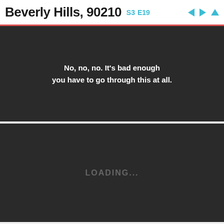Beverly Hills, 90210 S3 E19
[Figure (screenshot): Dark video player panel showing subtitle text: No, no, no. It's bad enough you have to go through this at all.]
[Figure (screenshot): Dark video player panel showing LOADING... text in gray]